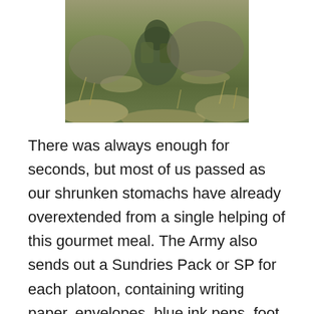[Figure (photo): A soldier or figure in camouflage gear among dry grass and rocky terrain, seen from torso area.]
There was always enough for seconds, but most of us passed as our shrunken stomachs have already overextended from a single helping of this gourmet meal. The Army also sends out a Sundries Pack or SP for each platoon, containing writing paper, envelopes, blue ink pens, foot powder, toothbrushes and paste, chewing gum, m&m's, Hershey bars, Almond Joy, Mounds, Three Musketeers, Snickers and assorted cartons of cigarettes – providing us with many of the simple articles that helped make life a little easier. One SP was intended to meet the requirements of 100 men for one day, but we usually saw